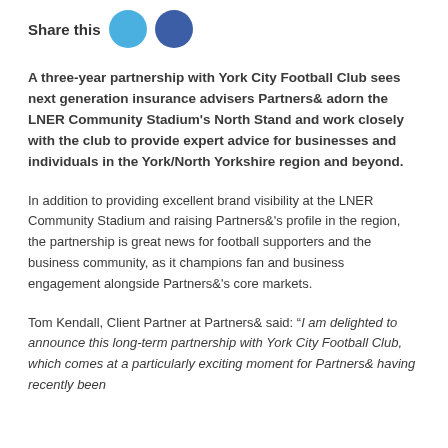Share this
A three-year partnership with York City Football Club sees next generation insurance advisers Partners& adorn the LNER Community Stadium's North Stand and work closely with the club to provide expert advice for businesses and individuals in the York/North Yorkshire region and beyond.
In addition to providing excellent brand visibility at the LNER Community Stadium and raising Partners&'s profile in the region, the partnership is great news for football supporters and the business community, as it champions fan and business engagement alongside Partners&'s core markets.
Tom Kendall, Client Partner at Partners& said: “I am delighted to announce this long-term partnership with York City Football Club, which comes at a particularly exciting moment for Partners& having recently been